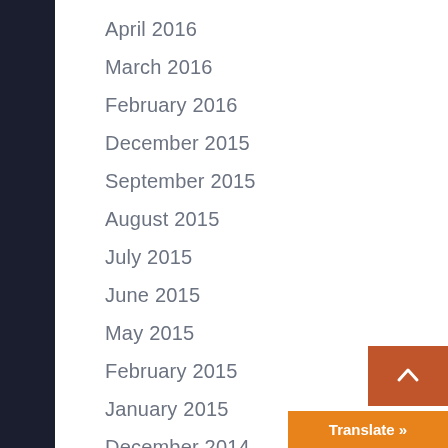April 2016
March 2016
February 2016
December 2015
September 2015
August 2015
July 2015
June 2015
May 2015
February 2015
January 2015
December 2014
June 2014
May 2014
April 2014
Translate »